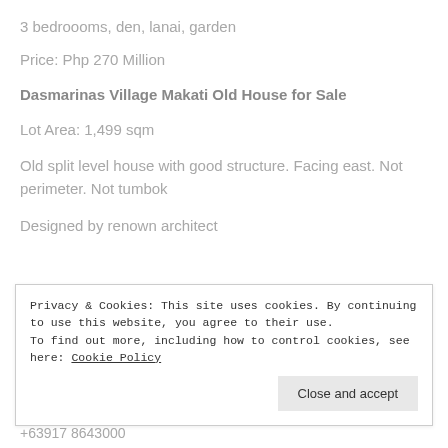3 bedroooms, den, lanai, garden
Price: Php 270 Million
Dasmarinas Village Makati Old House for Sale
Lot Area: 1,499 sqm
Old split level house with good structure. Facing east. Not perimeter. Not tumbok
Designed by renown architect
Privacy & Cookies: This site uses cookies. By continuing to use this website, you agree to their use. To find out more, including how to control cookies, see here: Cookie Policy
+63917 8643000